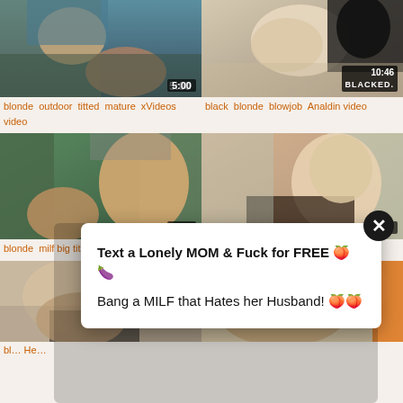[Figure (photo): Video thumbnail top-left: close-up of two people outdoors, duration 5:00]
blonde  outdoor  titted  mature  xVideos video
[Figure (photo): Video thumbnail top-right: blonde woman with dark-skinned partner, duration 10:46, BLACKED watermark]
black  blonde  blowjob  Analdin video
[Figure (photo): Video thumbnail mid-left: blonde woman in kitchen scene, duration 4:00]
blonde  milf big tits  slut  xVideos video
[Figure (photo): Video thumbnail mid-right: blonde woman in office chair, duration 9:00]
blonde  heels  horny moms  Beeg video
[Figure (photo): Video thumbnail bottom-left: group scene with man and two women on couch]
bl... He...
[Figure (photo): Video thumbnail bottom-right: blonde woman with headphones]
[Figure (infographic): Popup ad overlay: Text a Lonely MOM & Fuck for FREE / Bang a MILF that Hates her Husband!]